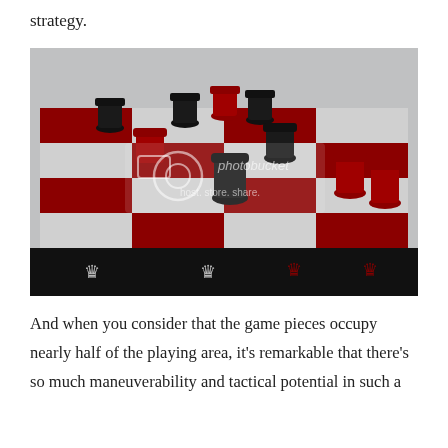strategy.
[Figure (photo): A photograph of a decorative chess set with red and black pieces on a black and red checkered board with crown motifs. The board features alternating black and red squares with white crown emblems. Multiple rook-style pieces in red and black fill the board. A Photobucket watermark overlay is visible on the image.]
And when you consider that the game pieces occupy nearly half of the playing area, it's remarkable that there's so much maneuverability and tactical potential in such a